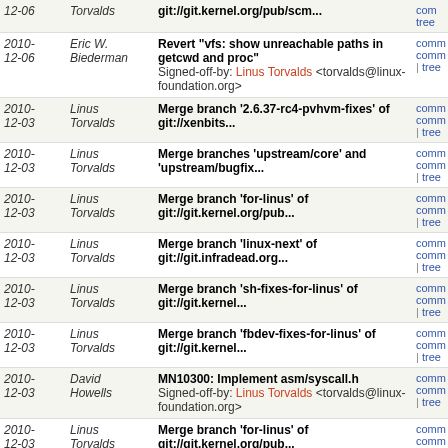| Date | Author | Commit | Links |
| --- | --- | --- | --- |
| 2010-12-06 | Torvalds | git://git.kernel.org/pub/scm... | comm | tree |
| 2010-12-06 | Eric W. Biederman | Revert "vfs: show unreachable paths in getcwd and proc"
Signed-off-by: Linus Torvalds <torvalds@linux-foundation.org> | comm comm | tree |
| 2010-12-03 | Linus Torvalds | Merge branch '2.6.37-rc4-pvhvm-fixes' of git://xenbits... | comm comm | tree |
| 2010-12-03 | Linus Torvalds | Merge branches 'upstream/core' and 'upstream/bugfix... | comm comm | tree |
| 2010-12-03 | Linus Torvalds | Merge branch 'for-linus' of git://git.kernel.org/pub... | comm comm | tree |
| 2010-12-03 | Linus Torvalds | Merge branch 'linux-next' of git://git.infradead.org... | comm comm | tree |
| 2010-12-03 | Linus Torvalds | Merge branch 'sh-fixes-for-linus' of git://git.kernel... | comm comm | tree |
| 2010-12-03 | Linus Torvalds | Merge branch 'fbdev-fixes-for-linus' of git://git.kernel... | comm comm | tree |
| 2010-12-03 | David Howells | MN10300: Implement asm/syscall.h
Signed-off-by: Linus Torvalds <torvalds@linux-foundation.org> | comm comm | tree |
| 2010-12-03 | Linus Torvalds | Merge branch 'for-linus' of git://git.kernel.org/pub... | comm comm | tree |
| 2010-12-02 | Nelson Elhage | do_exit(): make sure that we run with get_fs() == USER_DS
Signed-off-by: Linus Torvalds <torvalds@linux-foundation.org> | comm comm | tree |
| 2010- | KOSAKI | ksm: annotate ksm_thread_mutex is no | comm comm |